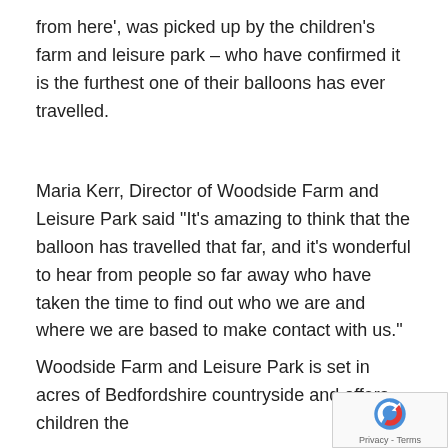from here', was picked up by the children's farm and leisure park – who have confirmed it is the furthest one of their balloons has ever travelled.
Maria Kerr, Director of Woodside Farm and Leisure Park said "It's amazing to think that the balloon has travelled that far, and it's wonderful to hear from people so far away who have taken the time to find out who we are and where we are based to make contact with us."
Woodside Farm and Leisure Park is set in acres of Bedfordshire countryside and offers children the